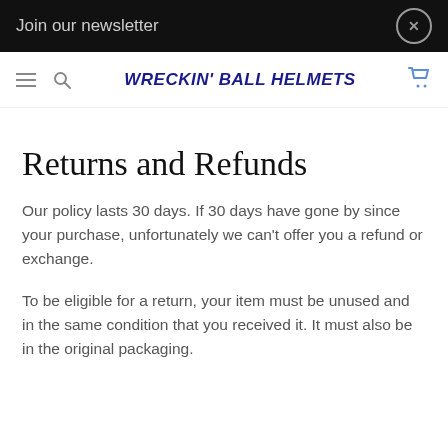Join our newsletter
WRECKIN' BALL HELMETS
Returns and Refunds
Our policy lasts 30 days. If 30 days have gone by since your purchase, unfortunately we can't offer you a refund or exchange.
To be eligible for a return, your item must be unused and in the same condition that you received it. It must also be in the original packaging.